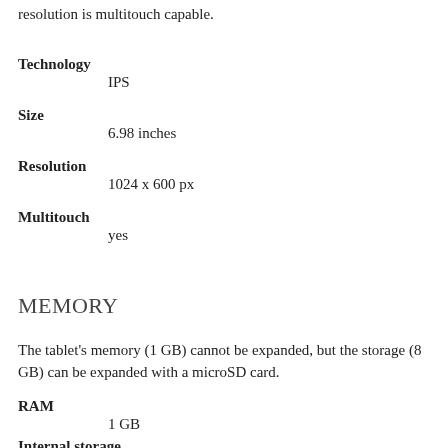resolution is multitouch capable.
Technology
IPS
Size
6.98 inches
Resolution
1024 x 600 px
Multitouch
yes
MEMORY
The tablet's memory (1 GB) cannot be expanded, but the storage (8 GB) can be expanded with a microSD card.
RAM
1 GB
Internal storage